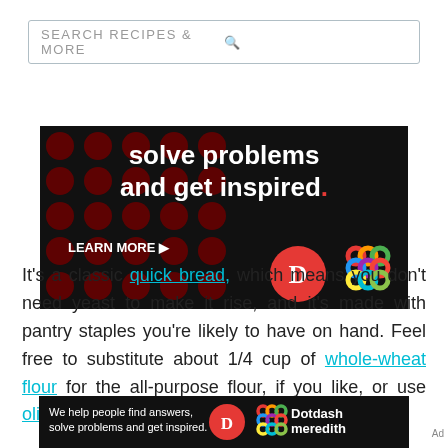[Figure (screenshot): Search bar with text SEARCH RECIPES & MORE and a magnifying glass icon on the right]
[Figure (infographic): Dark advertisement banner for Dotdash Meredith: solve problems and get inspired. LEARN MORE button with D logo and colorful lattice logo]
It's a classic quick bread, which means you don't need yeast to make it rise, and it's made with pantry staples you're likely to have on hand. Feel free to substitute about 1/4 cup of whole-wheat flour for the all-purpose flour, if you like, or use olive oil for a more savory taste.
[Figure (infographic): Bottom sticky ad: We help people find answers, solve problems and get inspired. Dotdash meredith logo]